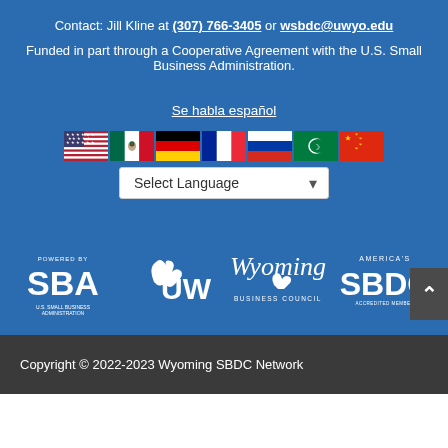Contact: Jill Kline at (307) 766-3405 or wsbdc@uwyo.edu
Funded in part through a Cooperative Agreement with the U.S. Small Business Administration.
Se habla español
[Figure (illustration): Row of international flags: USA, Mexico, Germany, France, Russia, Arabic/green crescent, China]
[Figure (other): Language selector dropdown showing 'Select Language' with down arrow]
[Figure (logo): Four organizational logos in a row: SBA (Powered by SBA), UW (University of Wyoming), Wyoming Business Council, America's SBDC Accredited Member]
Copyright © 2022-2023 Wyoming SBDC Network